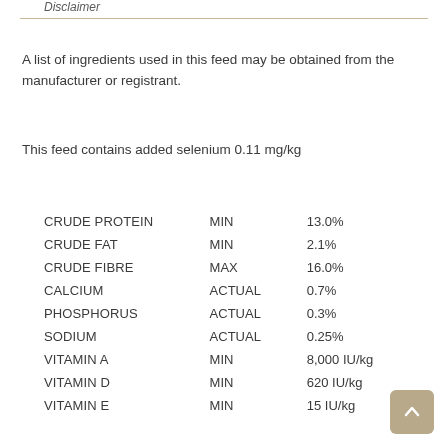Disclaimer
A list of ingredients used in this feed may be obtained from the manufacturer or registrant.
This feed contains added selenium 0.11 mg/kg
|  |  |  |
| --- | --- | --- |
| CRUDE PROTEIN | MIN | 13.0% |
| CRUDE FAT | MIN | 2.1% |
| CRUDE FIBRE | MAX | 16.0% |
| CALCIUM | ACTUAL | 0.7% |
| PHOSPHORUS | ACTUAL | 0.3% |
| SODIUM | ACTUAL | 0.25% |
| VITAMIN A | MIN | 8,000 IU/kg |
| VITAMIN D | MIN | 620 IU/kg |
| VITAMIN E | MIN | 15 IU/kg |